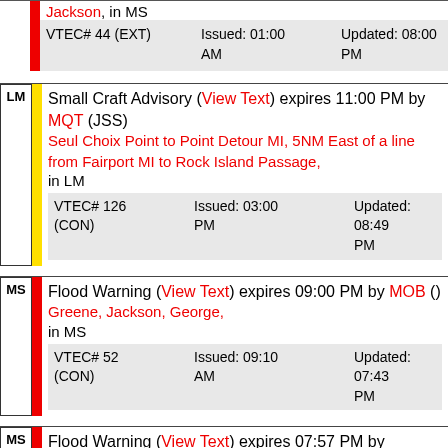Jackson, in MS — VTEC# 44 (EXT) Issued: 01:00 AM Updated: 08:00 PM
LM Small Craft Advisory (View Text) expires 11:00 PM by MQT (JSS) — Seul Choix Point to Point Detour MI, 5NM East of a line from Fairport MI to Rock Island Passage, in LM — VTEC# 126 (CON) Issued: 03:00 PM Updated: 08:49 PM
MS Flood Warning (View Text) expires 09:00 PM by MOB () — Greene, Jackson, George, in MS — VTEC# 52 (CON) Issued: 09:10 AM Updated: 07:43 PM
MS Flood Warning (View Text) expires 07:57 PM by